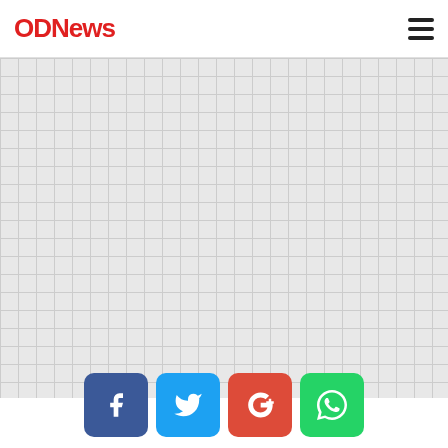ODNews
[Figure (photo): Large grey grid/placeholder image area below the navigation header]
[Figure (infographic): Social media share buttons: Facebook (blue), Twitter (light blue), Google+ (red), WhatsApp (green)]